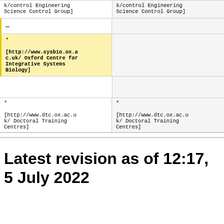| k/control Engineering
Science Control Group] | k/control Engineering
Science Control Group] |
| — |  |
| *
[http://www.sysbio.ox.ac.uk/ Oxford Centre for Integrative Systems Biology] |  |
|  |  |
| *
[http://www.dtc.ox.ac.uk/ Doctoral Training Centres] | *
[http://www.dtc.ox.ac.uk/ Doctoral Training Centres] |
Latest revision as of 12:17, 5 July 2022